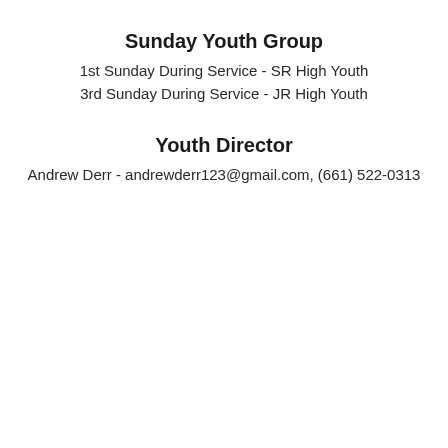Sunday Youth Group
1st Sunday During Service - SR High Youth
3rd Sunday During Service - JR High Youth
Youth Director
Andrew Derr - andrewderr123@gmail.com, (661) 522-0313